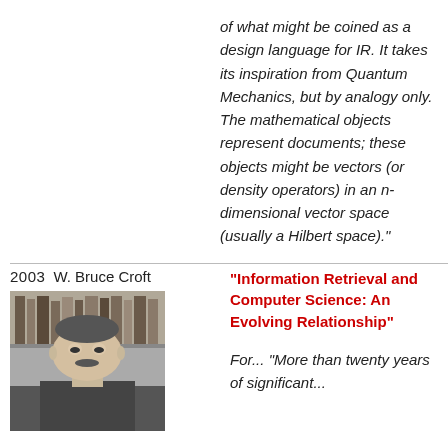of what might be coined as a design language for IR. It takes its inspiration from Quantum Mechanics, but by analogy only. The mathematical objects represent documents; these objects might be vectors (or density operators) in an n-dimensional vector space (usually a Hilbert space)."
2003   W. Bruce Croft
[Figure (photo): Black and white headshot photo of W. Bruce Croft, a middle-aged man with a mustache, shown from chest up, with bookshelves visible in the background.]
"Information Retrieval and Computer Science: An Evolving Relationship"
For... "More than twenty years of significant...